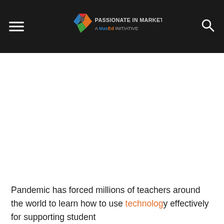Passionate in Marketing – A MaxEd Initiative
Pandemic has forced millions of teachers around the world to learn how to use technology effectively for supporting student